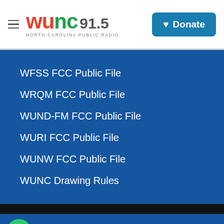WUNC 91.5 NORTH CAROLINA PUBLIC RADIO — Donate
WFSS FCC Public File
WRQM FCC Public File
WUND-FM FCC Public File
WURI FCC Public File
WUNW FCC Public File
WUNC Drawing Rules
WUNC — The World